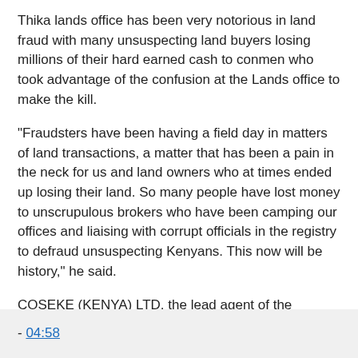Thika lands office has been very notorious in land fraud with many unsuspecting land buyers losing millions of their hard earned cash to conmen who took advantage of the confusion at the Lands office to make the kill.
“Fraudsters have been having a field day in matters of land transactions, a matter that has been a pain in the neck for us and land owners who at times ended up losing their land. So many people have lost money to unscrupulous brokers who have been camping our offices and liaising with corrupt officials in the registry to defraud unsuspecting Kenyans. This now will be history,” he said.
COSEKE (KENYA) LTD, the lead agent of the digitisation program, are currently holed up at the Ruaraka National Titling Centre (NTC), verifying records and the make shift binders (folders) before the final data is uploaded into the system.
- 04:58